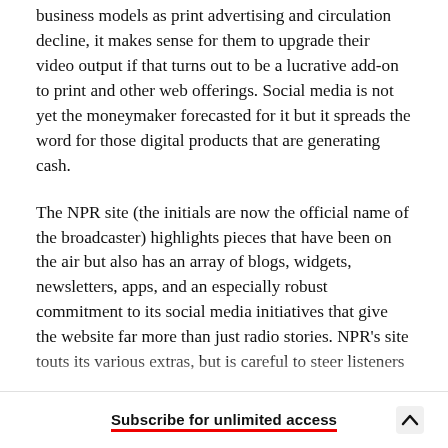business models as print advertising and circulation decline, it makes sense for them to upgrade their video output if that turns out to be a lucrative add-on to print and other web offerings. Social media is not yet the moneymaker forecasted for it but it spreads the word for those digital products that are generating cash.
The NPR site (the initials are now the official name of the broadcaster) highlights pieces that have been on the air but also has an array of blogs, widgets, newsletters, apps, and an especially robust commitment to its social media initiatives that give the website far more than just radio stories. NPR's site touts its various extras, but is careful to steer listeners
Subscribe for unlimited access